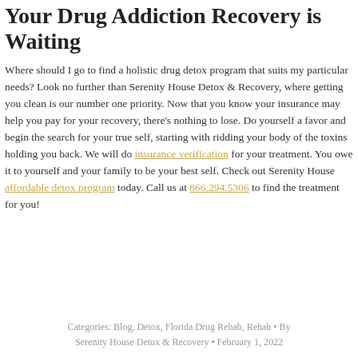Your Drug Addiction Recovery is Waiting
Where should I go to find a holistic drug detox program that suits my particular needs? Look no further than Serenity House Detox & Recovery, where getting you clean is our number one priority. Now that you know your insurance may help you pay for your recovery, there's nothing to lose. Do yourself a favor and begin the search for your true self, starting with ridding your body of the toxins holding you back. We will do insurance verification for your treatment. You owe it to yourself and your family to be your best self. Check out Serenity House affordable detox program today. Call us at 866.294.5306 to find the treatment for you!
Categories: Blog, Detox, Florida Drug Rehab, Rehab • By Serenity House Detox & Recovery • February 1, 2022